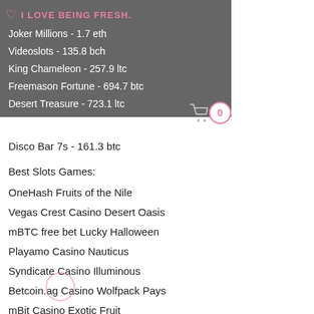I LOVE BEING FRESH.
Joker Millions - 1.7 eth
Videoslots - 135.8 bch
King Chameleon - 257.9 ltc
Freemason Fortune - 694.7 btc
Desert Treasure - 723.1 ltc
Disco Bar 7s - 161.3 btc
Best Slots Games:
OneHash Fruits of the Nile
Vegas Crest Casino Desert Oasis
mBTC free bet Lucky Halloween
Playamo Casino Nauticus
Syndicate Casino Illuminous
Betcoin.ag Casino Wolfpack Pays
mBit Casino Exotic Fruit
King Billy Casino Wilds Gone Wild
Bitcasino.io Cosmopolitan
CryptoWild Casino Whale O'Winnings
King Billy Casino World of Oz
CryptoGames Druidess Gold